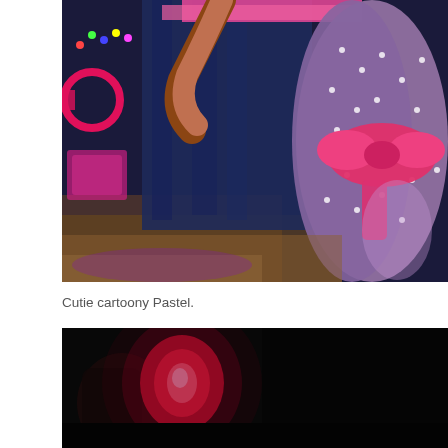[Figure (photo): A person wearing a polka-dot dress with a large pink/magenta bow at the waist, performing on a stage. Blue curtain in the background, colorful lights and pink props visible on the left side.]
Cutie cartoony Pastel.
[Figure (photo): A dark stage scene with a bright pink/red light glowing in the center-left, possibly a spotlight or lamp, against a very dark/black background.]